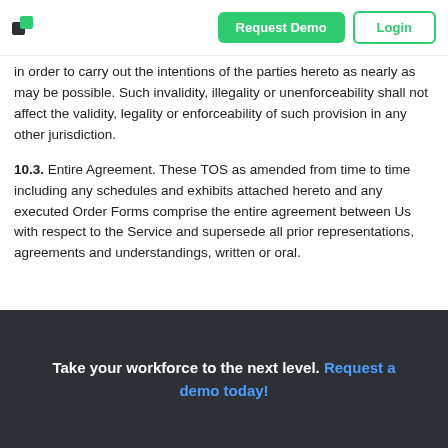Request Demo  Login
in order to carry out the intentions of the parties hereto as nearly as may be possible. Such invalidity, illegality or unenforceability shall not affect the validity, legality or enforceability of such provision in any other jurisdiction.
10.3.  Entire Agreement. These TOS as amended from time to time including any schedules and exhibits attached hereto and any executed Order Forms comprise the entire agreement between Us with respect to the Service and supersede all prior representations, agreements and understandings, written or oral.
Take your workforce to the next level. Request a demo today!